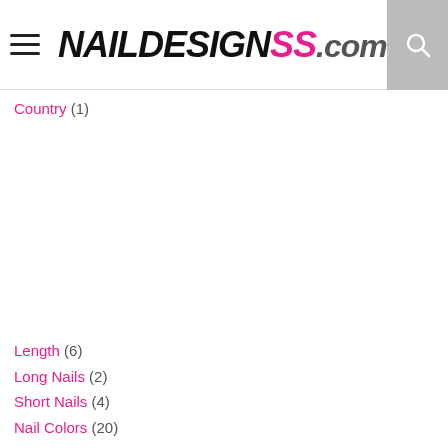NAILDESIGNSS.com
Country (1)
Length (6)
Long Nails (2)
Short Nails (4)
Nail Colors (20)